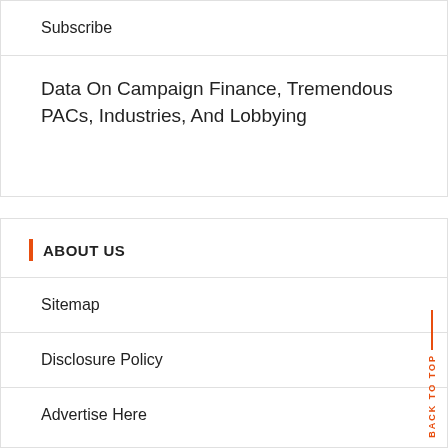Subscribe
Data On Campaign Finance, Tremendous PACs, Industries, And Lobbying
ABOUT US
Sitemap
Disclosure Policy
Advertise Here
BACK TO TOP